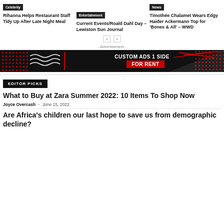Celebrity
Rihanna Helps Restaurant Staff Tidy Up After Late Night Meal
Entertainment
Current Events/Roald Dahl Day – Lewiston Sun Journal
News
Timothée Chalamet Wears Edgy Haider Ackermann Top for 'Bones & All' – WWD
- Advertisement -
[Figure (infographic): Advertisement banner: black background with red dots and wave patterns on left, vertical red divider, text 'CUSTOM ADS 1 SIDE IS' and red box 'FOR RENT', red speckle pattern on right]
EDITOR PICKS
What to Buy at Zara Summer 2022: 10 Items To Shop Now
Joyce Overcash  -  June 15, 2022
Are Africa's children our last hope to save us from demographic decline?